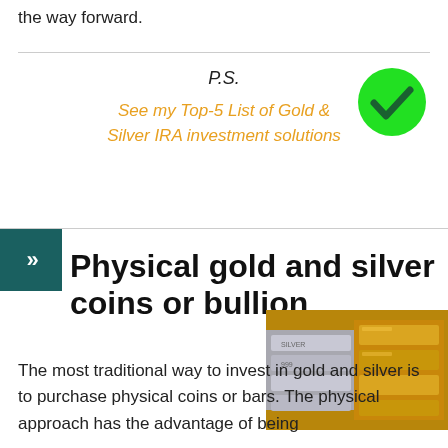the way forward.
P.S.
[Figure (illustration): Green circle with white checkmark icon]
See my Top-5 List of Gold & Silver IRA investment solutions
Physical gold and silver coins or bullion
[Figure (photo): Photo of gold and silver bullion bars and coins stacked together]
The most traditional way to invest in gold and silver is to purchase physical coins or bars. The physical approach has the advantage of being